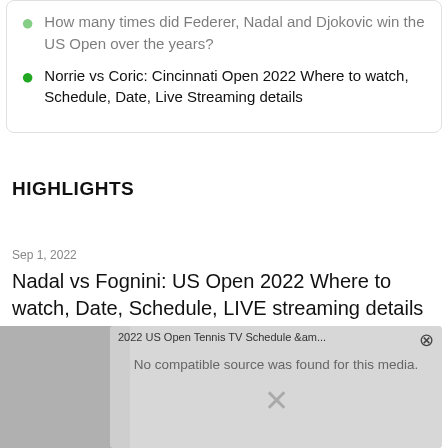How many times did Federer, Nadal and Djokovic win the US Open over the years?
Norrie vs Coric: Cincinnati Open 2022 Where to watch, Schedule, Date, Live Streaming details
HIGHLIGHTS
Sep 1, 2022
Nadal vs Fognini: US Open 2022 Where to watch, Date, Schedule, LIVE streaming details
2 Min Read
READ MORE
[Figure (screenshot): Video player overlay showing '2022 US Open Tennis TV Schedule &am...' with message 'No compatible source was found for this media.' and an X close button, overlaid on a blurred sports crowd background image.]